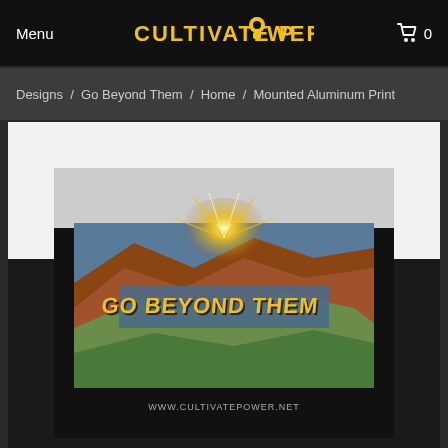Menu  CULTIVATE POWER.NET  0
Designs / Go Beyond Them / Home / Mounted Aluminum Print
[Figure (photo): Product photo of 'Go Beyond Them' mounted aluminum print showing a 3D rendered landscape with dramatic canyon scenery and golden burst light effect above text reading 'GO BEYOND THEM'. Website URL www.cultivatepower.net shown at bottom.]